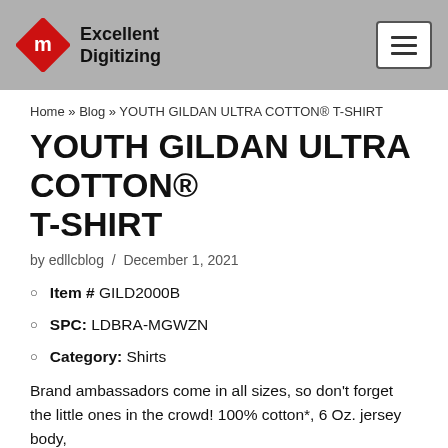Excellent Digitizing
Home » Blog » YOUTH GILDAN ULTRA COTTON® T-SHIRT
YOUTH GILDAN ULTRA COTTON® T-SHIRT
by edllcblog / December 1, 2021
Item # GILD2000B
SPC: LDBRA-MGWZN
Category: Shirts
Brand ambassadors come in all sizes, so don't forget the little ones in the crowd! 100% cotton*, 6 Oz. jersey body,